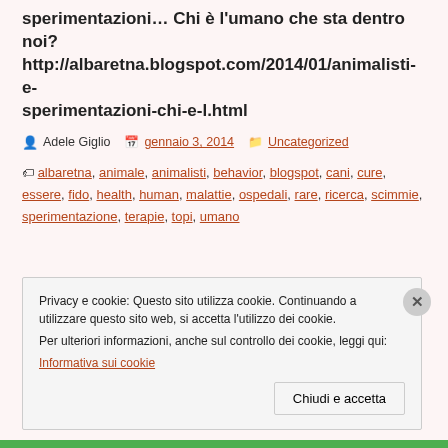sperimentazioni… Chi è l'umano che sta dentro noi? http://albaretna.blogspot.com/2014/01/animalisti-e-sperimentazioni-chi-e-l.html
Adele Giglio  |  gennaio 3, 2014  |  Uncategorized
Tags: albaretna, animale, animalisti, behavior, blogspot, cani, cure, essere, fido, health, human, malattie, ospedali, rare, ricerca, scimmie, sperimentazione, terapie, topi, umano
Privacy e cookie: Questo sito utilizza cookie. Continuando a utilizzare questo sito web, si accetta l'utilizzo dei cookie. Per ulteriori informazioni, anche sul controllo dei cookie, leggi qui: Informativa sui cookie